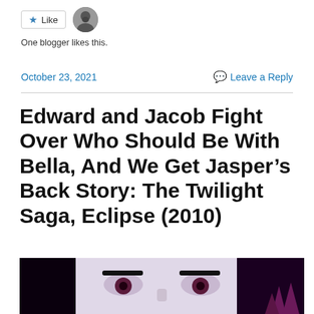[Figure (other): Like button with star icon and blogger avatar photo]
One blogger likes this.
October 23, 2021
Leave a Reply
Edward and Jacob Fight Over Who Should Be With Bella, And We Get Jasper’s Back Story: The Twilight Saga, Eclipse (2010)
[Figure (photo): Close-up movie poster image of a woman’s face (Bella from Twilight Eclipse) with pale skin, dark hair, and intense eyes, with purple-toned pine trees in the background]